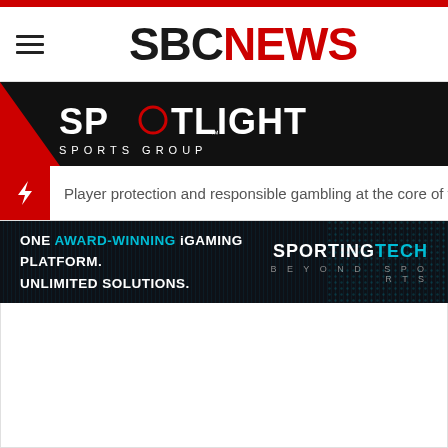SBC NEWS
[Figure (logo): Spotlight Sports Group banner logo on black background with red triangle on left]
Player protection and responsible gambling at the core of the SBC Summit Ba
[Figure (logo): Sporting Tech advertisement banner: ONE AWARD-WINNING iGAMING PLATFORM. UNLIMITED SOLUTIONS. SPORTINGTECH BEYOND SPORTS]